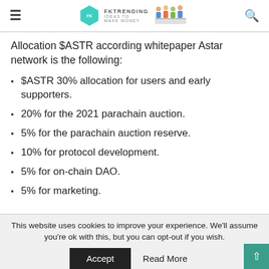FKTRENDING IDEAS TO MAKE MONEY
Allocation $ASTR according whitepaper Astar network is the following:
$ASTR 30% allocation for users and early supporters.
20% for the 2021 parachain auction.
5% for the parachain auction reserve.
10% for protocol development.
5% for on-chain DAO.
5% for marketing.
This website uses cookies to improve your experience. We'll assume you're ok with this, but you can opt-out if you wish. Accept  Read More